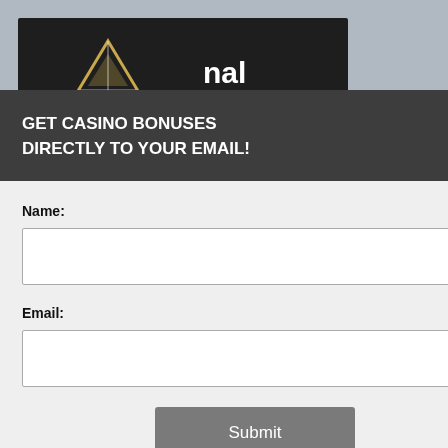[Figure (screenshot): Screenshot of a casino website page with a popup modal overlay. The background shows a dark casino header with a logo, an orange horizontal separator line, and partial text reading 'FREE SPINS NO'. A black cookie consent overlay is visible on the right side. A popup modal is overlaid on top with a dark header section reading 'GET CASINO BONUSES DIRECTLY TO YOUR EMAIL!' with a circular close (X) button, followed by a white form area with Name and Email input fields, a Submit button, and fine-print subscription disclosure text with a Privacy and Cookie policy link.]